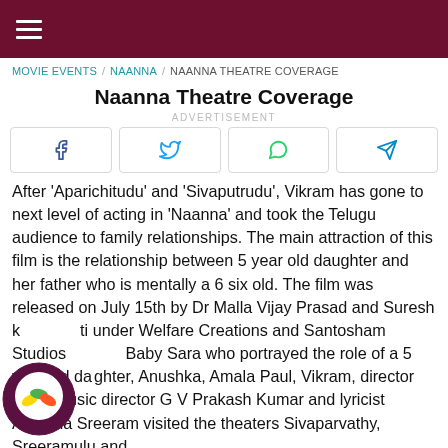≡
MOVIE EVENTS / NAANNA / NAANNA THEATRE COVERAGE
Naanna Theatre Coverage
ADVERTISEMENT
[Figure (other): Social share buttons: Facebook, Twitter, WhatsApp, Telegram]
After 'Aparichitudu' and 'Sivaputrudu', Vikram has gone to next level of acting in 'Naanna' and took the Telugu audience to family relationships. The main attraction of this film is the relationship between 5 year old daughter and her father who is mentally a 6 six old. The film was released on July 15th by Dr Malla Vijay Prasad and Suresh kanti under Welfare Creations and Santosham Studios Baby Sara who portrayed the role of a 5 year old daughter, Anushka, Amala Paul, Vikram, director Vijay, music director G V Prakash Kumar and lyricist Anantha Sreeram visited the theaters Sivaparvathy, Sreeramulu and Sreeramulu and thrilled the audience and